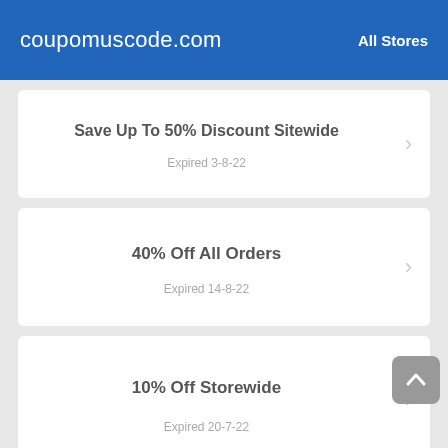coupomuscode.com  All Stores
Save Up To 50% Discount Sitewide
Expired 3-8-22
40% Off All Orders
Expired 14-8-22
10% Off Storewide
Expired 20-7-22